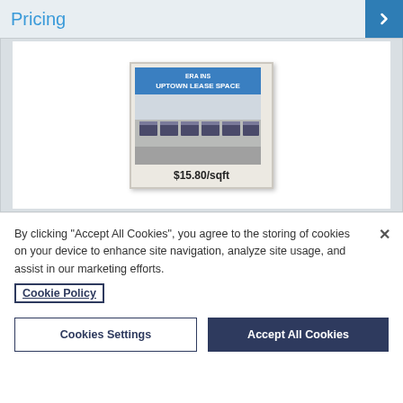Pricing
[Figure (photo): A real estate property listing card showing a commercial building with a blue sign reading 'UPTOWN LEASE SPACE' and a price label of $15.80/sqft]
By clicking "Accept All Cookies", you agree to the storing of cookies on your device to enhance site navigation, analyze site usage, and assist in our marketing efforts.
Cookie Policy
Cookies Settings
Accept All Cookies